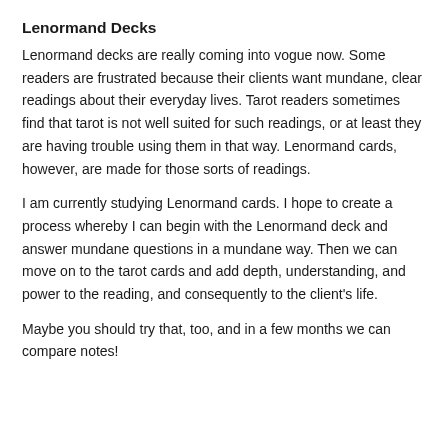Lenormand Decks
Lenormand decks are really coming into vogue now. Some readers are frustrated because their clients want mundane, clear readings about their everyday lives. Tarot readers sometimes find that tarot is not well suited for such readings, or at least they are having trouble using them in that way. Lenormand cards, however, are made for those sorts of readings.
I am currently studying Lenormand cards. I hope to create a process whereby I can begin with the Lenormand deck and answer mundane questions in a mundane way. Then we can move on to the tarot cards and add depth, understanding, and power to the reading, and consequently to the client's life.
Maybe you should try that, too, and in a few months we can compare notes!